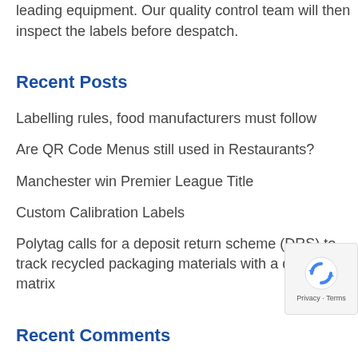leading equipment. Our quality control team will then inspect the labels before despatch.
Recent Posts
Labelling rules, food manufacturers must follow
Are QR Code Menus still used in Restaurants?
Manchester win Premier League Title
Custom Calibration Labels
Polytag calls for a deposit return scheme (DRS) to track recycled packaging materials with a data matrix
Recent Comments
C. Rogers - Sparkx on NEW – Ultimate Asset Tag